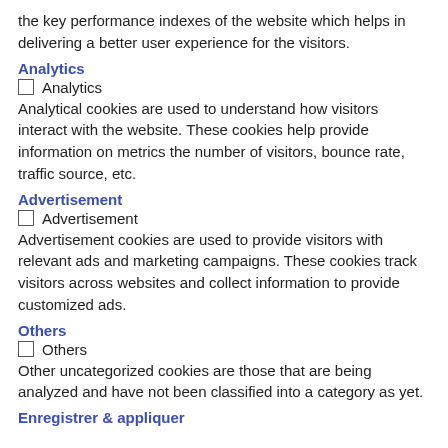the key performance indexes of the website which helps in delivering a better user experience for the visitors.
Analytics
Analytics
Analytical cookies are used to understand how visitors interact with the website. These cookies help provide information on metrics the number of visitors, bounce rate, traffic source, etc.
Advertisement
Advertisement
Advertisement cookies are used to provide visitors with relevant ads and marketing campaigns. These cookies track visitors across websites and collect information to provide customized ads.
Others
Others
Other uncategorized cookies are those that are being analyzed and have not been classified into a category as yet.
Enregistrer & appliquer